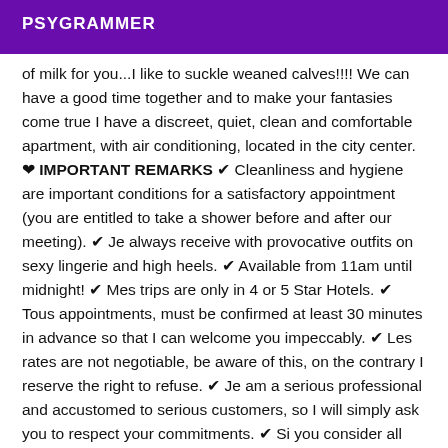PSYGRAMMER
of milk for you...I like to suckle weaned calves!!!! We can have a good time together and to make your fantasies come true I have a discreet, quiet, clean and comfortable apartment, with air conditioning, located in the city center. ❤ IMPORTANT REMARKS ✔ Cleanliness and hygiene are important conditions for a satisfactory appointment (you are entitled to take a shower before and after our meeting). ✔ Je always receive with provocative outfits on sexy lingerie and high heels. ✔ Available from 11am until midnight! ✔ Mes trips are only in 4 or 5 Star Hotels. ✔ Tous appointments, must be confirmed at least 30 minutes in advance so that I can welcome you impeccably. ✔ Les rates are not negotiable, be aware of this, on the contrary I reserve the right to refuse. ✔ Je am a serious professional and accustomed to serious customers, so I will simply ask you to respect your commitments. ✔ Si you consider all